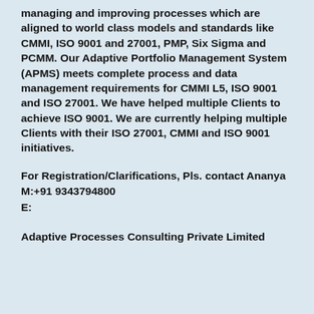managing and improving processes which are aligned to world class models and standards like CMMI, ISO 9001 and 27001, PMP, Six Sigma and PCMM. Our Adaptive Portfolio Management System (APMS) meets complete process and data management requirements for CMMI L5, ISO 9001 and ISO 27001. We have helped multiple Clients to achieve ISO 9001. We are currently helping multiple Clients with their ISO 27001, CMMI and ISO 9001 initiatives.
For Registration/Clarifications, Pls. contact Ananya
M:+91 9343794800
E:
Adaptive Processes Consulting Private Limited